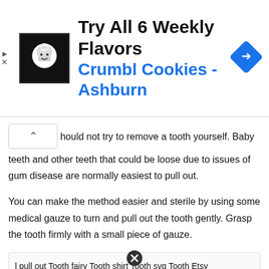[Figure (infographic): Advertisement banner for Crumbl Cookies - Ashburn. Shows a cookie logo, the text 'Try All 6 Weekly Flavors' in bold black and 'Crumbl Cookies - Ashburn' in blue, plus a navigation arrow icon on the right.]
...hould not try to remove a tooth yourself. Baby teeth and other teeth that could be loose due to issues of gum disease are normally easiest to pull out.
You can make the method easier and sterile by using some medical gauze to turn and pull out the tooth gently. Grasp the tooth firmly with a small piece of gauze.
l pull out Tooth fairy Tooth shirt Tooth svg Tooth Etsy
A dentist pulling out the tooth of a terrified boy
M Can I pull my teeth out??? D Sure, here is some floss